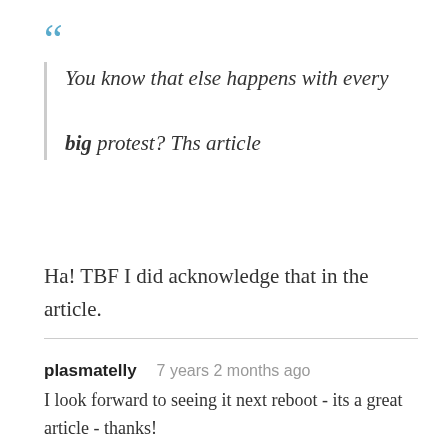You know that else happens with every big protest? Ths article
Ha! TBF I did acknowledge that in the article.
plasmatelly   7 years 2 months ago
I look forward to seeing it next reboot - its a great article - thanks!
Noah Fence   7 years 2 months ago
Presumably I'm not alone in finding the